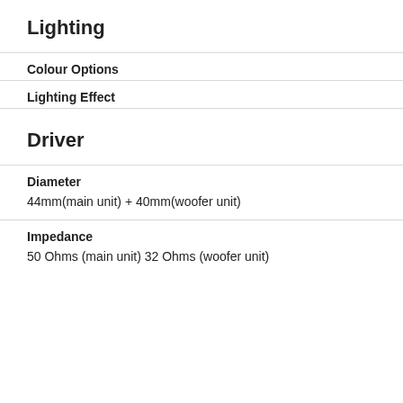Lighting
Colour Options
Lighting Effect
Driver
Diameter
44mm(main unit) + 40mm(woofer unit)
Impedance
50 Ohms (main unit) 32 Ohms (woofer unit)